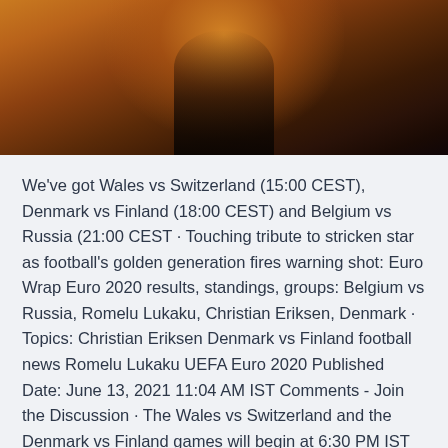[Figure (photo): Dark atmospheric photo with warm amber/orange bokeh lighting, silhouette of a person visible against a golden glowing background]
We've got Wales vs Switzerland (15:00 CEST), Denmark vs Finland (18:00 CEST) and Belgium vs Russia (21:00 CEST · Touching tribute to stricken star as football's golden generation fires warning shot: Euro Wrap Euro 2020 results, standings, groups: Belgium vs Russia, Romelu Lukaku, Christian Eriksen, Denmark · Topics: Christian Eriksen Denmark vs Finland football news Romelu Lukaku UEFA Euro 2020 Published Date: June 13, 2021 11:04 AM IST Comments - Join the Discussion · The Wales vs Switzerland and the Denmark vs Finland games will begin at 6:30 PM IST and 9:30 PM IST,